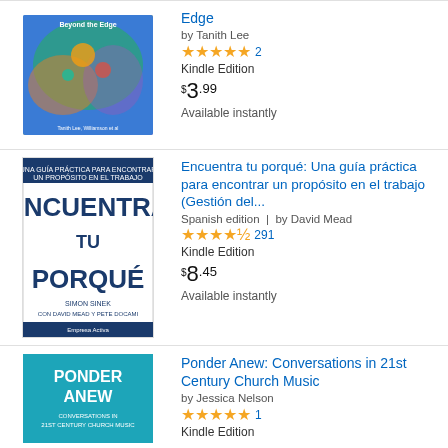[Figure (illustration): Book cover: colorful illustrated artwork with trees and birds, 'Beyond the Edge' visible at top, authors listed at bottom]
Edge
by Tanith Lee
★★★★★ 2
Kindle Edition
$3.99
Available instantly
[Figure (illustration): Book cover: 'Encuentra tu porqué' by Simon Sinek - white text on dark blue background with Spanish subtitle]
Encuentra tu porqué: Una guía práctica para encontrar un propósito en el trabajo (Gestión del...
Spanish edition  |  by David Mead
★★★★½ 291
Kindle Edition
$8.45
Available instantly
[Figure (illustration): Book cover: 'Ponder Anew: Conversations in 21st Century Church Music' - white text on teal/blue background]
Ponder Anew: Conversations in 21st Century Church Music
by Jessica Nelson
★★★★★ 1
Kindle Edition